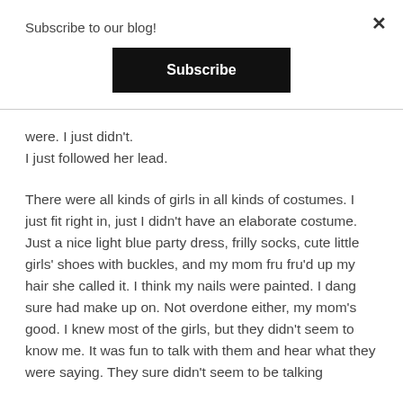Subscribe to our blog!
[Figure (other): Black Subscribe button]
were. I just didn't.
I just followed her lead.
There were all kinds of girls in all kinds of costumes. I just fit right in, just I didn't have an elaborate costume. Just a nice light blue party dress, frilly socks, cute little girls' shoes with buckles, and my mom fru fru'd up my hair she called it. I think my nails were painted. I dang sure had make up on. Not overdone either, my mom's good. I knew most of the girls, but they didn't seem to know me. It was fun to talk with them and hear what they were saying. They sure didn't seem to be talking